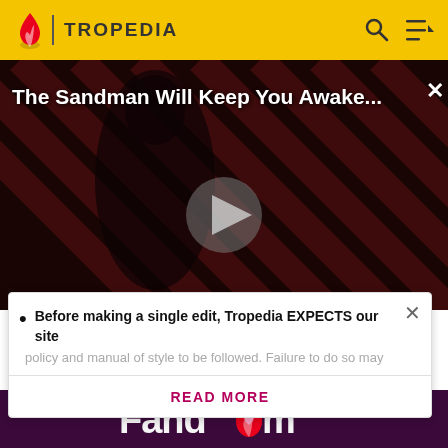TROPEDIA
[Figure (screenshot): Tropedia website screenshot showing video banner for 'The Sandman Will Keep You Awake...' with diagonal stripe background and a dark-clad figure, with a play button in the center]
Before making a single edit, Tropedia EXPECTS our site policy and manual of style to be followed. Failure to do so may
READ MORE
[Figure (logo): Fandom logo on dark purple background]